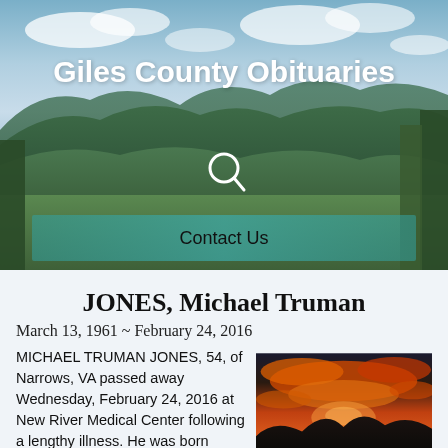[Figure (photo): Hero banner image of green rolling mountains under a partly cloudy sky with a teal 'Contact Us' bar overlay and a search icon, titled 'Giles County Obituaries']
JONES, Michael Truman
March 13, 1961 ~ February 24, 2016
MICHAEL TRUMAN JONES, 54, of Narrows, VA passed away Wednesday, February 24, 2016 at New River Medical Center following a lengthy illness. He was born
[Figure (photo): A dramatic sunset photograph showing fiery orange and red clouds over dark mountain silhouettes reflected in a lake or river.]